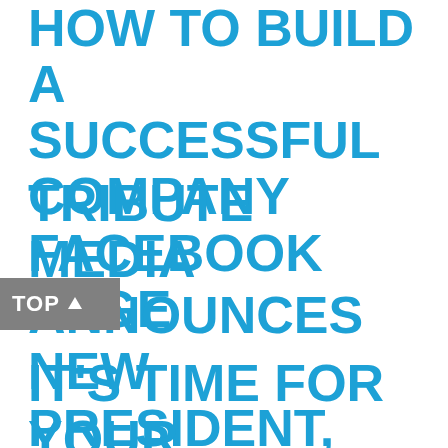HOW TO BUILD A SUCCESSFUL COMPANY FACEBOOK PAGE
TRIBUTE MEDIA ANNOUNCES NEW PRESIDENT, LINDSEY BOWSHIER
[Figure (other): Gray button with white text reading 'TOP' and an upward arrow icon]
IT'S TIME FOR YOUR BUSINESS TO BE SOCIAL ON SOCIAL